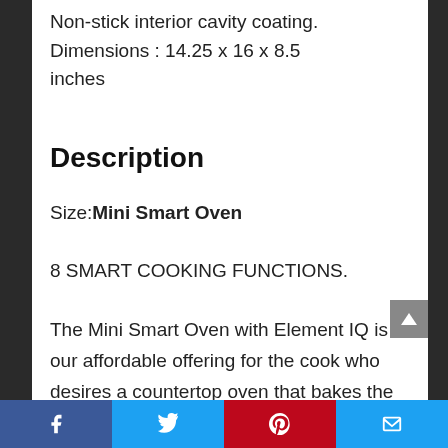Non-stick interior cavity coating. Dimensions : 14.25 x 16 x 8.5 inches
Description
Size: Mini Smart Oven
8 SMART COOKING FUNCTIONS.
The Mini Smart Oven with Element IQ is our affordable offering for the cook who desires a countertop oven that bakes the perfect pizza, delicious cookies and toasts evenly.